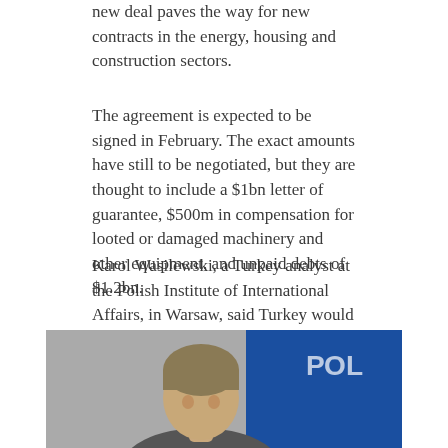new deal paves the way for new contracts in the energy, housing and construction sectors.
The agreement is expected to be signed in February. The exact amounts have still to be negotiated, but they are thought to include a $1bn letter of guarantee, $500m in compensation for looted or damaged machinery and other equipment, and unpaid debts of $1.2bn.
Karol Wasilewski, a Turkey analyst at the Polish Institute of International Affairs, in Warsaw, said Turkey would welcome the cash, but the restoration of business ties was of more long-term benefit to Ankara.
SOURCE AND MORE:
[Figure (photo): Photograph of a person (head and shoulders), with a blue banner/background visible on the right side.]